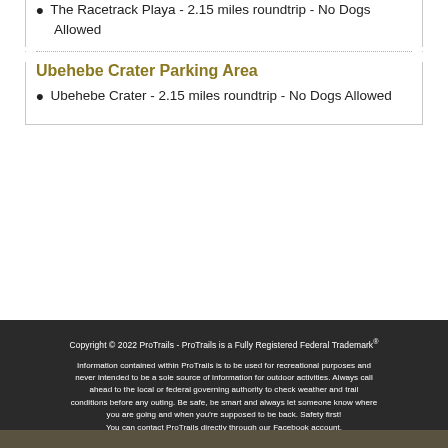The Racetrack Playa - 2.15 miles roundtrip - No Dogs Allowed
Ubehebe Crater Parking Area
Ubehebe Crater - 2.15 miles roundtrip - No Dogs Allowed
Copyright © 2022 ProTrails - ProTrails is a Fully Registered Federal Trademark®

Information contained within ProTrails is to be used for recreational purposes and never intended to be a sole source of information for outdoor activities. Always call ahead to the local or federal governing authority to check weather and trail conditions before any outing. Be safe, be smart and always let someone know where you are going and when you're supposed to be back. Safety first! You can contact ProTrails directly through our Facebook account.